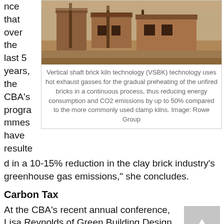nce that over the last 5 years, the CBA's programmes have resulted in a 10-15% reduction in the clay brick industry's greenhouse gas emissions," she concludes.
[Figure (photo): Photograph of a vertical shaft brick kiln (VSBK) structure, showing brick kilns with wooden poles and earthen surroundings.]
Vertical shaft brick kiln technology (VSBK) technology uses hot exhaust gasses for the gradual preheating of the unfired bricks in a continuous process, thus reducing energy consumption and CO2 emissions by up to 50% compared to the more commonly used clamp kilns. Image: Rowe Group
Carbon Tax
At the CBA's recent annual conference, Lisa Reynolds of Green Building Design Group